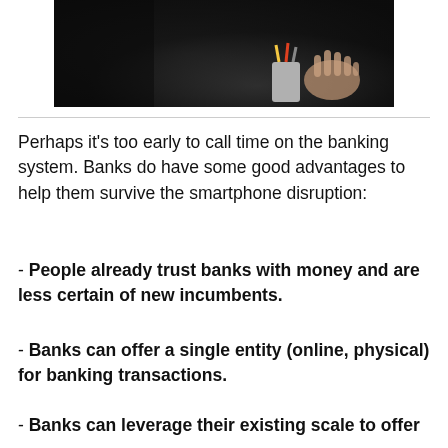[Figure (photo): Dark photograph showing a pencil cup holder and a person's hand, taken in low light conditions, likely at a desk]
Perhaps it's too early to call time on the banking system. Banks do have some good advantages to help them survive the smartphone disruption:
- People already trust banks with money and are less certain of new incumbents.
- Banks can offer a single entity (online, physical) for banking transactions.
- Banks can leverage their existing scale to offer